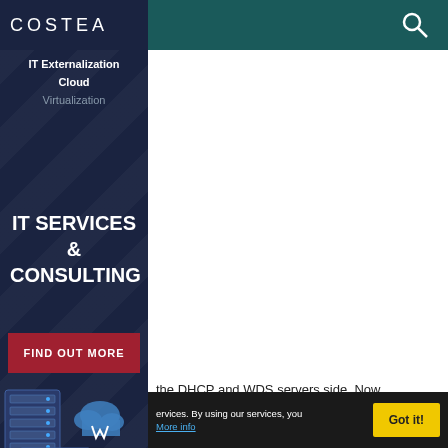COSTEA
IT Externalization
Cloud
Virtualization
IT SERVICES & CONSULTING
FIND OUT MORE
[Figure (illustration): Server rack and cloud computing icons illustration with laptop]
the DHCP and WDS servers side. Now our firewall configuration, where the
ervices. By using our services, you   More info
Got it!